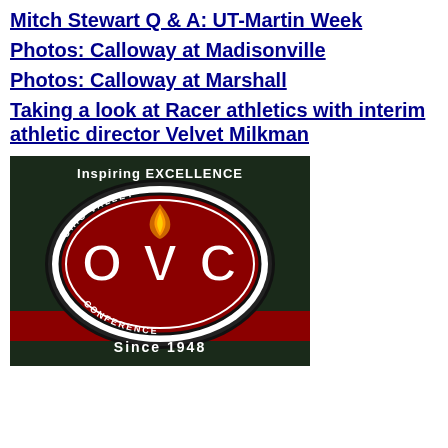Mitch Stewart Q & A: UT-Martin Week
Photos: Calloway at Madisonville
Photos: Calloway at Marshall
Taking a look at Racer athletics with interim athletic director Velvet Milkman
[Figure (logo): Ohio Valley Conference logo on dark background with text 'Inspiring Excellence' arched above and 'Since 1948' below. Red and black oval with OVC letters and torch flame in center.]